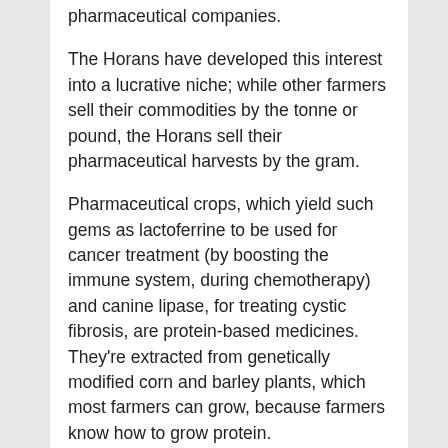pharmaceutical companies.
The Horans have developed this interest into a lucrative niche; while other farmers sell their commodities by the tonne or pound, the Horans sell their pharmaceutical harvests by the gram.
Pharmaceutical crops, which yield such gems as lactoferrine to be used for cancer treatment (by boosting the immune system, during chemotherapy) and canine lipase, for treating cystic fibrosis, are protein-based medicines. They're extracted from genetically modified corn and barley plants, which most farmers can grow, because farmers know how to grow protein. Pharmaceutical companies need farmers' agronomic knowledge to produce these crops in commercially viable quantities;